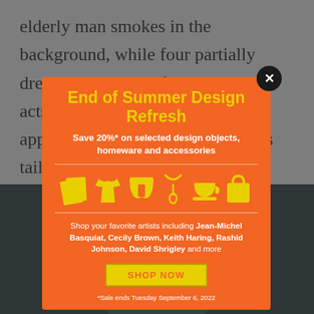elderly man smokes in the background, while four partially dressed women perform habitual acts: appl… …t's tail, … the adja… …ene, the c… .
[Figure (screenshot): Bottom illustration showing a dark-toned portrait face in a painted/comic style with teal and dark green tones]
[Figure (infographic): Orange modal popup advertisement: 'End of Summer Design Refresh — Save 20%* on selected design objects, homeware and accessories' with yellow icons (books/paper, t-shirt, shorts, necklace, cup, tote bag), artist names including Jean-Michel Basquiat, Cecily Brown, Keith Haring, Rashid Johnson, David Shrigley and more, SHOP NOW button, footnote: *Sale ends Tuesday September 6, 2022. Has a circular black close button with X in top right.]